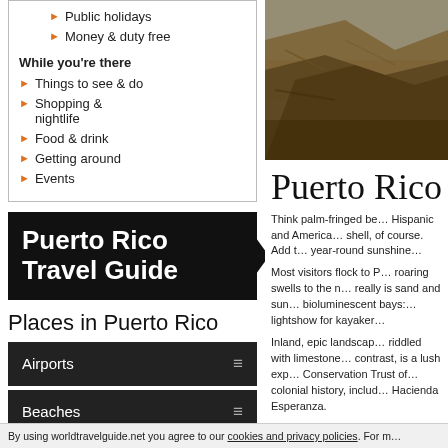Public holidays
Money & duty free
While you're there
Things to see & do
Shopping & nightlife
Food & drink
Getting around
Events
Puerto Rico Travel Guide
Places in Puerto Rico
Airports
Beaches
[Figure (photo): Rock formation photo, partially visible]
Puerto Rico
Think palm-fringed be… Hispanic and America… shell, of course. Add … year-round sunshine…
Most visitors flock to … roaring swells to the m… really is sand and sur… bioluminescent bays:… lightshow for kayaker…
Inland, epic landscap… riddled with limestone… contrast, is a lush exp… Conservation Trust of… colonial history, includ… Hacienda Esperanza.
By using worldtravelguide.net you agree to our cookies and privacy policies. For m…